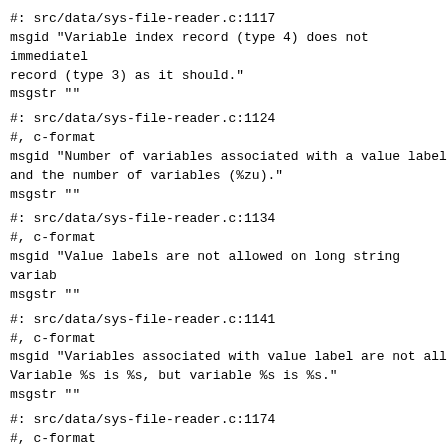#: src/data/sys-file-reader.c:1117
msgid "Variable index record (type 4) does not immediately follow the variable record (type 3) as it should."
msgstr ""
#: src/data/sys-file-reader.c:1124
#, c-format
msgid "Number of variables associated with a value label and the number of variables (%zu)."
msgstr ""
#: src/data/sys-file-reader.c:1134
#, c-format
msgid "Value labels are not allowed on long string variables."
msgstr ""
#: src/data/sys-file-reader.c:1141
#, c-format
msgid "Variables associated with value label are not all the same type. Variable %s is %s, but variable %s is %s."
msgstr ""
#: src/data/sys-file-reader.c:1174
#, c-format
msgid "Duplicate value label for %g on %s."
msgstr ""
#: src/data/sys-file-reader.c:1177
#, c-format